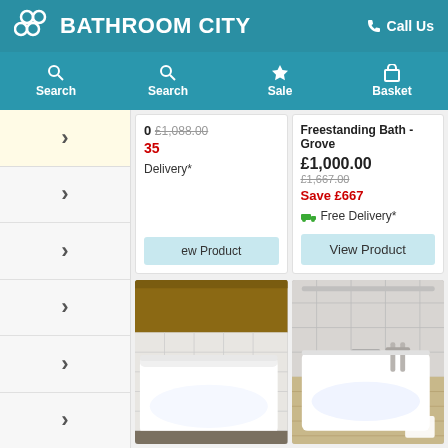BATHROOM CITY — Call Us
Search | Search | Sale | Basket
£1,088.00 (strikethrough)
Free Delivery*
View Product
Freestanding Bath - Grove
£1,000.00  £1,667.00 (strikethrough)
Save £667
Free Delivery*
View Product
[Figure (photo): White rectangular bathtub in a tiled bathroom setting with wooden accents]
[Figure (photo): White bathtub with chrome fixtures in a modern grey bathroom]